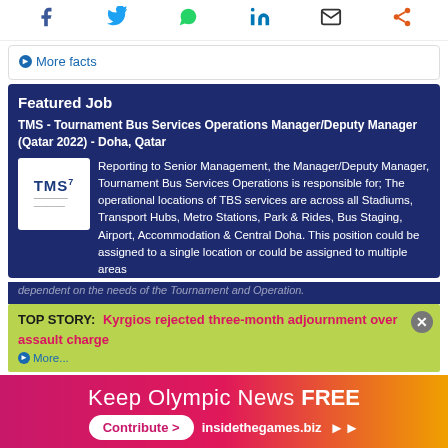[Figure (infographic): Social media share icons: Facebook (blue), Twitter (blue), WhatsApp (green), LinkedIn (blue), Email (dark), Share (orange)]
More facts
Featured Job
TMS - Tournament Bus Services Operations Manager/Deputy Manager (Qatar 2022) - Doha, Qatar
[Figure (logo): TMS logo in white box]
Reporting to Senior Management, the Manager/Deputy Manager, Tournament Bus Services Operations is responsible for; The operational locations of TBS services are across all Stadiums, Transport Hubs, Metro Stations, Park & Rides, Bus Staging, Airport, Accommodation & Central Doha. This position could be assigned to a single location or could be assigned to multiple areas dependent on the needs of the Tournament and Operation.
dependent on the needs of the Tournament and Operation.
More...
TOP STORY: Kyrgios rejected three-month adjournment over assault charge
Keep Olympic News FREE
Contribute > insidethegames.biz ▶▶